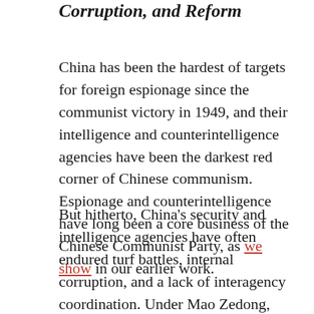Corruption, and Reform
China has been the hardest of targets for foreign espionage since the communist victory in 1949, and their intelligence and counterintelligence agencies have been the darkest red corner of Chinese communism. Espionage and counterintelligence have long been a core business of the Chinese Communist Party, as we show in our earlier work.
But hitherto, China's security and intelligence agencies have often endured turf battles, internal corruption, and a lack of interagency coordination. Under Mao Zedong, they were attacked and dismantled during the Cultural Revolution, taking decades to recover. During